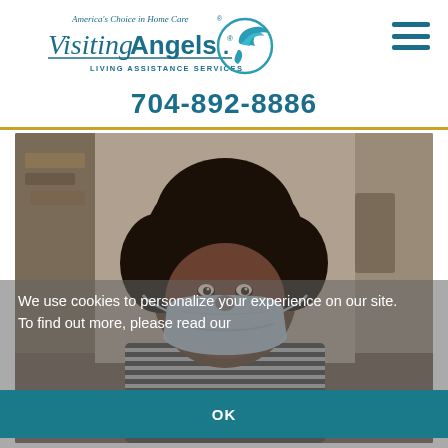[Figure (logo): Visiting Angels logo with 'America's Choice in Home Care' tagline, bird/angel graphic in teal, and 'Living Assistance Services' text]
704-892-8886
[Figure (photo): An older Black woman wearing a light blue face mask and striped shirt, photographed indoors with a blurred background]
We use cookies to personalize your experience on our site. To find out more, please read our [privacy policy].
OK